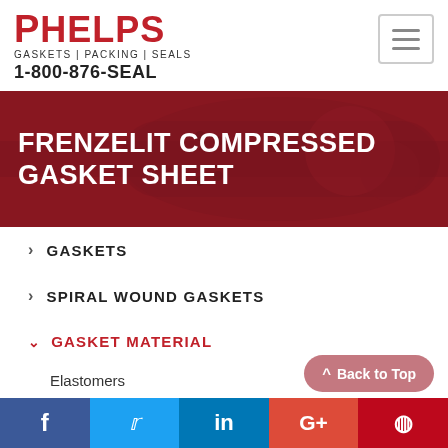PHELPS GASKETS | PACKING | SEALS 1-800-876-SEAL
FRENZELIT COMPRESSED GASKET SHEET
GASKETS
SPIRAL WOUND GASKETS
GASKET MATERIAL
Elastomers
Back to Top
f  Twitter  in  G+  Pinterest